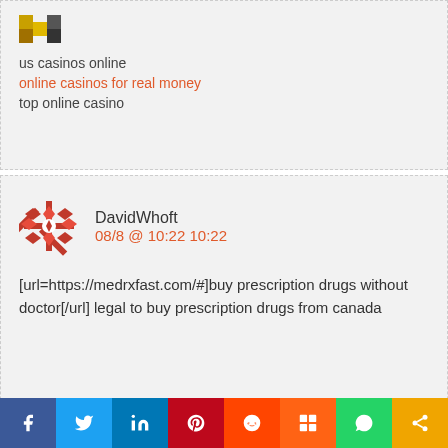us casinos online
online casinos for real money
top online casino
DavidWhoft
08/8 @ 10:22 10:22
[url=https://medrxfast.com/#]buy prescription drugs without doctor[/url] legal to buy prescription drugs from canada